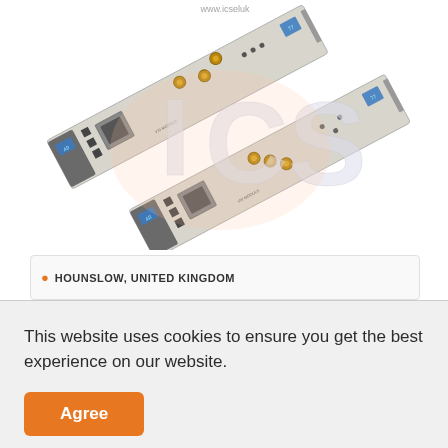[Figure (photo): Two electronic hardware modules (VXI or similar instrumentation cards) arranged diagonally on a white background, with a watermark overlay showing 'ICS'. The modules are light grey/beige with various connectors, displays, and ports. Gold SMA connectors are visible on each module.]
HOUNSLOW, UNITED KINGDOM
This website uses cookies to ensure you get the best experience on our website.
Agree